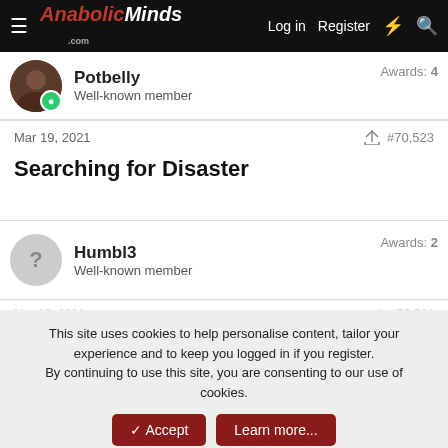AnabolicMinds.com — Log in  Register
Potbelly  Well-known member  Awards: 4
Mar 19, 2021  #70,523
Searching for Disaster
Humbl3  Well-known member  Awards: 2
Mar 19, 2021  #70,524
This site uses cookies to help personalise content, tailor your experience and to keep you logged in if you register.
By continuing to use this site, you are consenting to our use of cookies.
Topic of the Week: The Single Best Supplement You've Taken